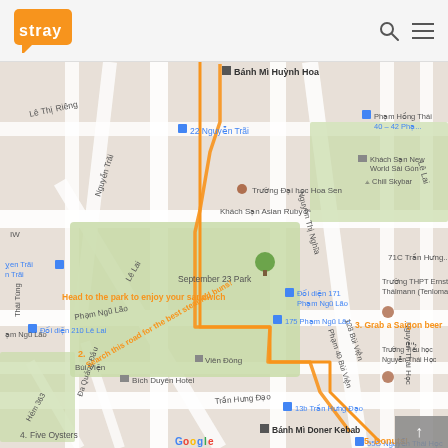[Figure (logo): Stray travel logo — orange speech-bubble shape with white 'STRAY' text]
[Figure (map): Google Maps screenshot of Ho Chi Minh City streets around September 23 Park. Orange route line is drawn connecting several food stops. Annotations in orange text include: 'Head to the park to enjoy your sandwich', '2. Search this road for the best steamed buns!', '3. Grab a Saigon beer', '4. Five Oysters', '5. Donuts!'. Street names visible: Le Thi Rieng, Nguyen Trai, Pham Ngu Lao, Le Lai, Nguyen Thi Nghia, Bui Vien, Tran Hung Dao, Nguyen Thai Hoc. Landmarks: Truong Dai hoc Hoa Sen, Khach San Asian Ruby 2, September 23 Park, Banh Mi Huynh Hoa, Banh Mi Doner Kebab, Bich Duyen Hotel, Vien Dong, Truong THPT Ernst Thalmann, Truong Tieu hoc Nguyen Thai Hoc, Khach San New World Sai Gon, Chill Skybar. Google logo in bottom left of map.]